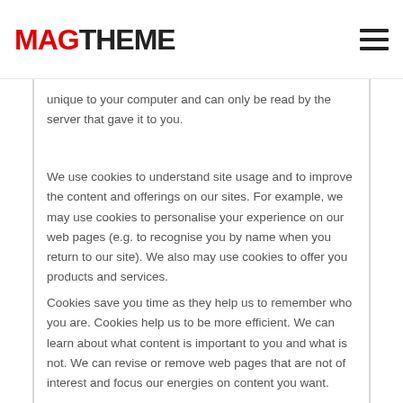MAGTHEME
unique to your computer and can only be read by the server that gave it to you.
We use cookies to understand site usage and to improve the content and offerings on our sites. For example, we may use cookies to personalise your experience on our web pages (e.g. to recognise you by name when you return to our site). We also may use cookies to offer you products and services.
Cookies save you time as they help us to remember who you are. Cookies help us to be more efficient. We can learn about what content is important to you and what is not. We can revise or remove web pages that are not of interest and focus our energies on content you want.